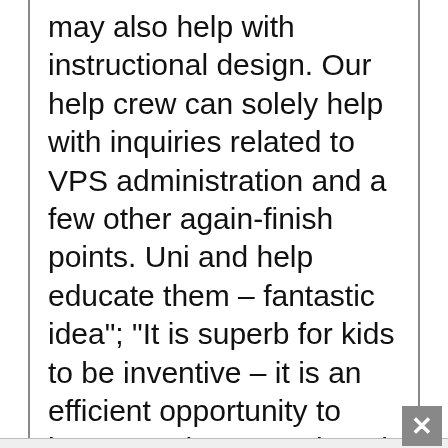may also help with instructional design. Our help crew can solely help with inquiries related to VPS administration and a few other again-finish points. Uni and help educate them – fantastic idea"; “It is superb for kids to be inventive – it is an efficient opportunity to learn"; and “my son loved it and got here back on all three days
We use cookies on our website to give you the most relevant experience by remembering your preferences and repeat visits. By clicking “Accept”, you consent to the use of all cookies.
Accept
learn more about it and perceive it better” (Determine 4). Youngsters and teachers
respect being able to discover novel analysis areas that hyperlink to their instructing and studying curriculum in